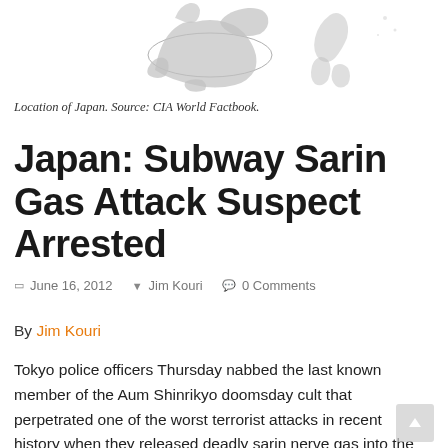[Figure (map): Partial map showing location of Japan and surrounding region, including Philippines outline. Gray silhouette style. Source: CIA World Factbook.]
Location of Japan. Source: CIA World Factbook.
Japan: Subway Sarin Gas Attack Suspect Arrested
June 16, 2012  Jim Kouri  0 Comments
By Jim Kouri
Tokyo police officers Thursday nabbed the last known member of the Aum Shinrikyo doomsday cult that perpetrated one of the worst terrorist attacks in recent history when they released deadly sarin nerve gas into the Japanese city's subway system, according to police sources.